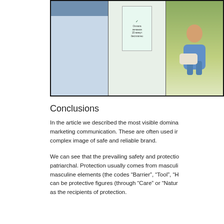[Figure (photo): Three insurance/marketing advertisement panels showing Russian-language promotional materials and imagery including a billboard, a sign post, and a person sitting outdoors with a laptop.]
Conclusions
In the article we described the most visible dominan marketing communication. These are often used in complex image of safe and reliable brand.
We can see that the prevailing safety and protectio patriarchal. Protection usually comes from masculi masculine elements (the codes “Barrier”, “Tool”, “H can be protective figures (through “Care” or “Natur as the recipients of protection.
The source of protection can be in the future or in often used in brand communication in Russia. It se technologies and futuristic dreams as great, but as symbols of past achievements and local traditions.
The analysis shown that there are many possible w meaning of safety, both direct and connotative, an society.
Footnotes
[1] The revolution of 1905; World War I; the Revolu USSR; Civil War, hunger of 20 s; Stalin’s represso